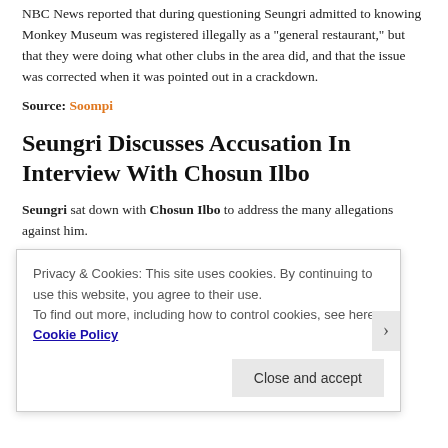NBC News reported that during questioning Seungri admitted to knowing Monkey Museum was registered illegally as a "general restaurant," but that they were doing what other clubs in the area did, and that the issue was corrected when it was pointed out in a crackdown.
Source: Soompi
Seungri Discusses Accusation In Interview With Chosun Ilbo
Seungri sat down with Chosun Ilbo to address the many allegations against him.
I am sorry and ashamed of myself. It was wrong of me to be involved in
Privacy & Cookies: This site uses cookies. By continuing to use this website, you agree to their use.
To find out more, including how to control cookies, see here: Cookie Policy
Close and accept